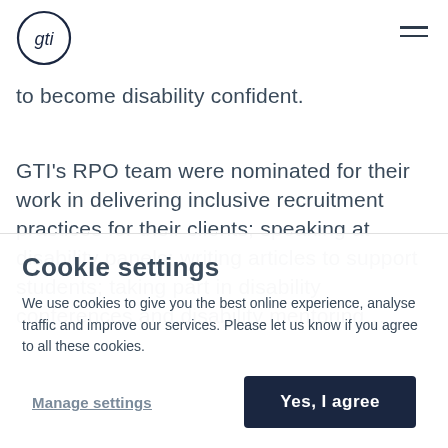gti (logo) | navigation hamburger
to become disability confident.
GTI's RPO team were nominated for their work in delivering inclusive recruitment practices for their clients; speaking at disability panels; writing articles to support students; taking part in disability conferences and...
Cookie settings
We use cookies to give you the best online experience, analyse traffic and improve our services. Please let us know if you agree to all these cookies.
Manage settings | Yes, I agree